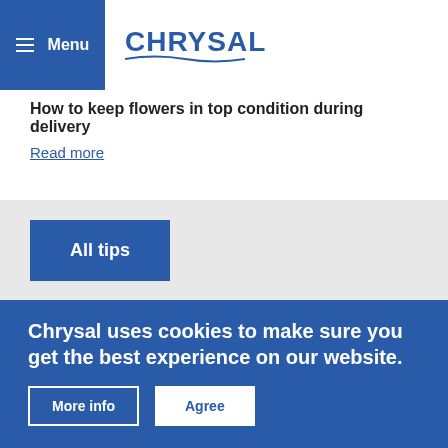Menu | CHRYSAL
How to keep flowers in top condition during delivery
Read more
All tips
Chrysal uses cookies to make sure you get the best experience on our website.
More info
Agree